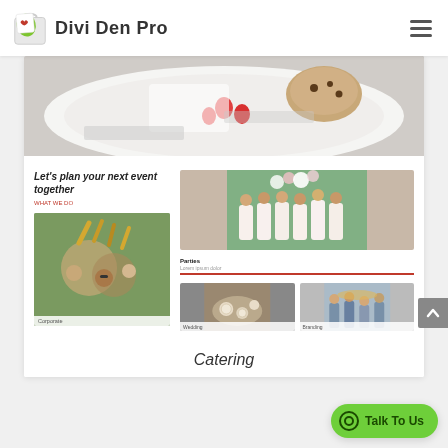Divi Den Pro
[Figure (photo): Food hero banner image showing dessert on white plate with strawberries and cookie]
Let's plan your next event together
WHAT WE DO
[Figure (photo): Corporate event photo - people toasting with drinks from below angle]
Corporate
[Figure (photo): Parties - group of bridesmaids in white dresses holding balloons outdoors]
Parties
[Figure (photo): Wedding table setting with plates]
[Figure (photo): Branding event with people at table]
Wedding
Branding
Catering
Talk To Us